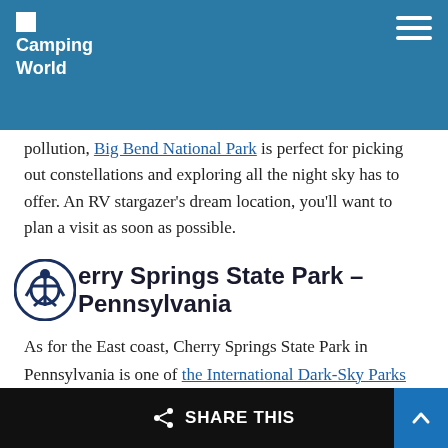Camping World
pollution, Big Bend National Park is perfect for picking out constellations and exploring all the night sky has to offer. An RV stargazer's dream location, you'll want to plan a visit as soon as possible.
Cherry Springs State Park – Pennsylvania
As for the East coast, Cherry Springs State Park in Pennsylvania is one of the International Dark-Sky Parks offering incredibly dark skies. As a result, viewing the stars at this location is an experience unlike any other.
SHARE THIS